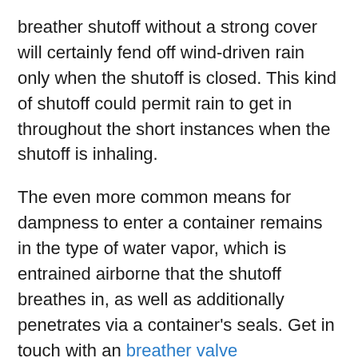breather shutoff without a strong cover will certainly fend off wind-driven rain only when the shutoff is closed. This kind of shutoff could permit rain to get in throughout the short instances when the shutoff is inhaling.
The even more common means for dampness to enter a container remains in the type of water vapor, which is entrained airborne that the shutoff breathes in, as well as additionally penetrates via a container's seals. Get in touch with an breather valve manufacturer designer for support in identifying just how to secure your container's contents against this kind of water ingress.
The greatest stamina of the sound transportation